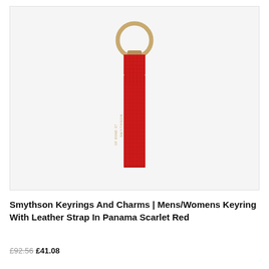[Figure (photo): A red leather keyring with a gold-tone metal ring at the top. The leather strap has a saffiano cross-hatch texture and features a pointed flap at the top. The brand name SMYTHSON OF BOND ST is embossed in gold text vertically on the lower portion of the strap. The background is light grey/white.]
Smythson Keyrings And Charms | Mens/Womens Keyring With Leather Strap In Panama Scarlet Red
£92.56 £41.08